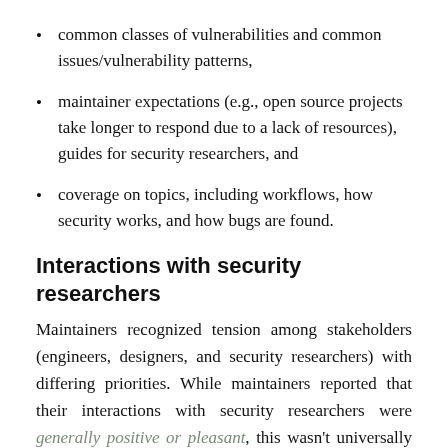common classes of vulnerabilities and common issues/vulnerability patterns,
maintainer expectations (e.g., open source projects take longer to respond due to a lack of resources), guides for security researchers, and
coverage on topics, including workflows, how security works, and how bugs are found.
Interactions with security researchers
Maintainers recognized tension among stakeholders (engineers, designers, and security researchers) with differing priorities. While maintainers reported that their interactions with security researchers were generally positive or pleasant, this wasn't universally true. Some characterized their interactions with security researchers as “very obscure” and “it runs the